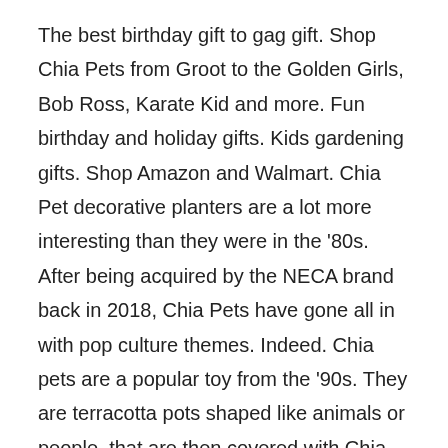The best birthday gift to gag gift. Shop Chia Pets from Groot to the Golden Girls, Bob Ross, Karate Kid and more. Fun birthday and holiday gifts. Kids gardening gifts. Shop Amazon and Walmart. Chia Pet decorative planters are a lot more interesting than they were in the '80s. After being acquired by the NECA brand back in 2018, Chia Pets have gone all in with pop culture themes. Indeed. Chia pets are a popular toy from the '90s. They are terracotta pots shaped like animals or people, that are then covered with Chia seeds. When the seeds sprout, they look like fur or hair. When the sprouts die, you simply add more Chia seeds. You can also use another type of tiny plant, such as alfalfa, grass, or thyme. ChIA-PET2 was named not only because it is a tool for ChIA-PET data analysis, but also because it supports at